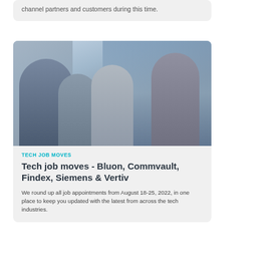channel partners and customers during this time.
[Figure (photo): Four people in an office setting having a discussion near large windows. One man seated, one standing man with glasses, one woman with crossed arms, one woman gesturing with hands.]
TECH JOB MOVES
Tech job moves - Bluon, Commvault, Findex, Siemens & Vertiv
We round up all job appointments from August 18-25, 2022, in one place to keep you updated with the latest from across the tech industries.